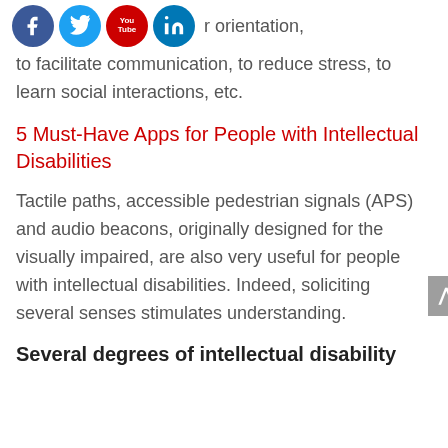[Figure (other): Social media icons: Facebook (blue circle), Twitter (light blue circle), YouTube (red circle with 'You Tube' text), LinkedIn (blue circle), followed by text 'r orientation,']
to facilitate communication, to reduce stress, to learn social interactions, etc.
5 Must-Have Apps for People with Intellectual Disabilities
Tactile paths, accessible pedestrian signals (APS) and audio beacons, originally designed for the visually impaired, are also very useful for people with intellectual disabilities. Indeed, soliciting several senses stimulates understanding.
Several degrees of intellectual disability